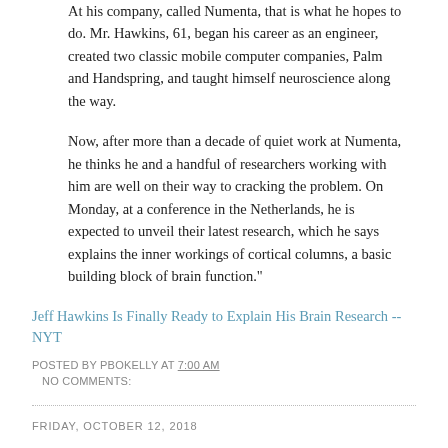At his company, called Numenta, that is what he hopes to do. Mr. Hawkins, 61, began his career as an engineer, created two classic mobile computer companies, Palm and Handspring, and taught himself neuroscience along the way.
Now, after more than a decade of quiet work at Numenta, he thinks he and a handful of researchers working with him are well on their way to cracking the problem. On Monday, at a conference in the Netherlands, he is expected to unveil their latest research, which he says explains the inner workings of cortical columns, a basic building block of brain function."
Jeff Hawkins Is Finally Ready to Explain His Brain Research -- NYT
POSTED BY PBOKELLY AT 7:00 AM
NO COMMENTS:
FRIDAY, OCTOBER 12, 2018
Most White Americans' DNA Can Be